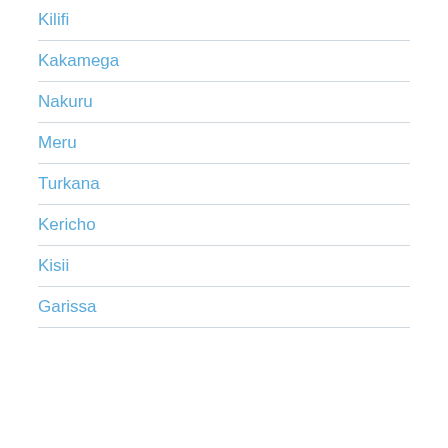Kilifi
Kakamega
Nakuru
Meru
Turkana
Kericho
Kisii
Garissa